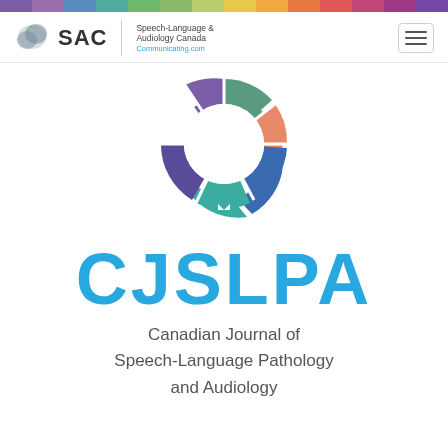[Figure (illustration): Multicolored top navigation bar with rainbow-like color segments]
SAC Speech-Language & Audiology Canada Communicating.com
[Figure (logo): CJSLPA donut-ring logo made of 5 colored arc segments (purple, green, salmon/orange, blue, teal) with white center, representing the Canadian Journal of Speech-Language Pathology and Audiology]
CJSLPA
Canadian Journal of Speech-Language Pathology and Audiology